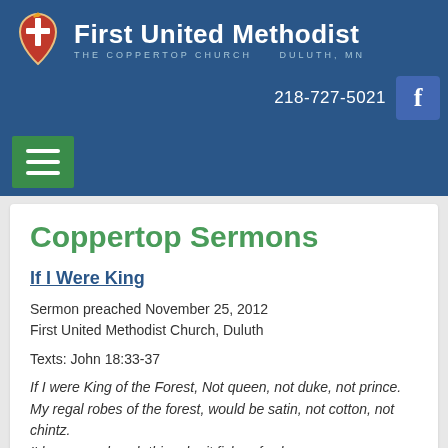[Figure (logo): First United Methodist Church logo with cross and flame symbol, blue background header with church name, subtitle 'THE COPPERTOP CHURCH DULUTH, MN', phone number 218-727-5021, Facebook icon, and green hamburger menu button]
Coppertop Sermons
If I Were King
Sermon preached November 25, 2012
First United Methodist Church, Duluth
Texts: John 18:33-37
If I were King of the Forest, Not queen, not duke, not prince.
My regal robes of the forest, would be satin, not cotton, not chintz.
I'd command each thing, be it fish or fowl.
With a woof and a woof and
… View More
Better Git It In Your Soul